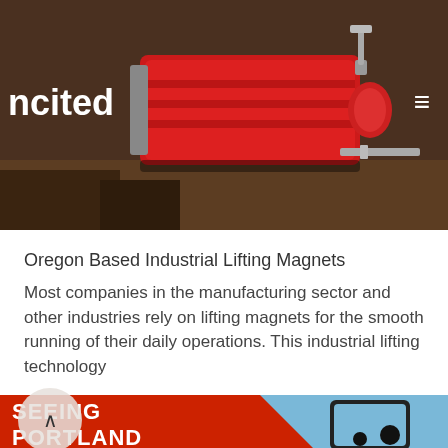[Figure (photo): Photo of a red industrial lifting magnet device on a workbench]
ncited
Oregon Based Industrial Lifting Magnets
Most companies in the manufacturing sector and other industries rely on lifting magnets for the smooth running of their daily operations. This industrial lifting technology
READ MORE »
Carnahan •
[Figure (photo): Red background image with bold white text reading SEEING PORTLAND AUTO GLASS and a smartphone visible on the right side]